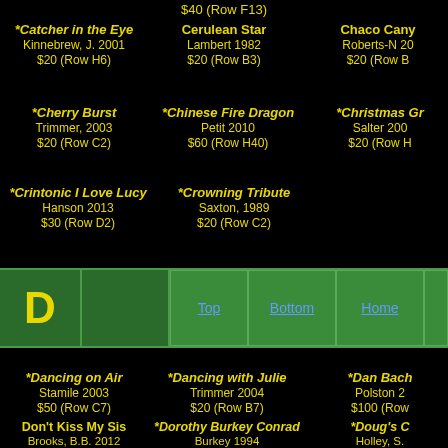$40 (Row F13)
*Catcher in the Eye
Kinnebrew, J. 2001
$20 (Row H6)
Cerulean Star
Lambert 1982
$20 (Row B3)
Chaco Canyon
Roberts-N 20...
$20 (Row B...)
*Cherry Burst
Trimmer, 2003
$20 (Row C2)
*Chinese Fire Dragon
Petit 2010
$60 (Row H40)
*Christmas Gr...
Salter 200...
$20 (Row H...)
*Crintonic I Love Lucy
Hanson 2013
$30 (Row D2)
*Crowning Tribute
Saxton, 1989
$20 (Row C2)
D
Top   Bottom   Home
*Dancing on Air
Stamile 2003
$50 (Row C7)
*Dancing with Julie
Trimmer 2004
$20 (Row B7)
*Dan Bach...
Polston 2...
$100 (Row...)
Don't Kiss My Sis
Brooks, B.B. 2012
$20 (Row H7)
*Dorothy Burkey Conrad
Burkey 1994
$20 (Row C2)
*Doug's C...
Holley, S....
$60 (Row...)